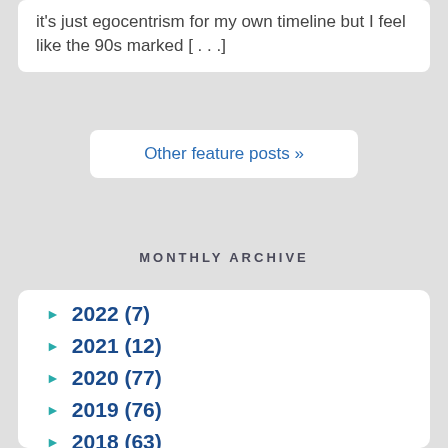it's just egocentrism for my own timeline but I feel like the 90s marked [...]
Other feature posts »
MONTHLY ARCHIVE
► 2022 (7)
► 2021 (12)
► 2020 (77)
► 2019 (76)
► 2018 (63)
► 2017 (82)
► 2016 (51)